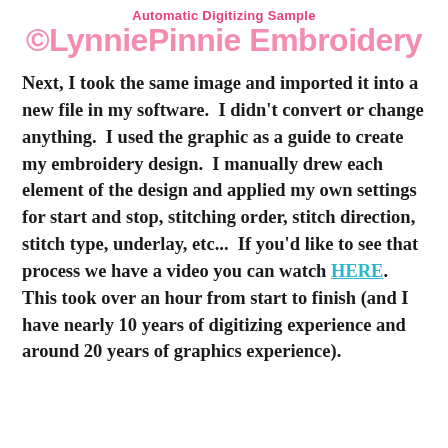Automatic Digitizing Sample
©LynniePinnie Embroidery
Next, I took the same image and imported it into a new file in my software.  I didn't convert or change anything.  I used the graphic as a guide to create my embroidery design.  I manually drew each element of the design and applied my own settings for start and stop, stitching order, stitch direction, stitch type, underlay, etc...  If you'd like to see that process we have a video you can watch HERE.  This took over an hour from start to finish (and I have nearly 10 years of digitizing experience and around 20 years of graphics experience).